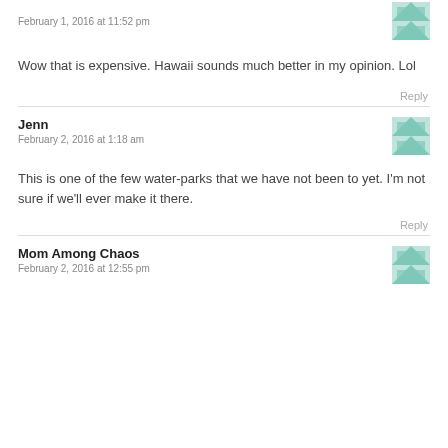February 1, 2016 at 11:52 pm
Wow that is expensive. Hawaii sounds much better in my opinion. Lol
Reply
Jenn
February 2, 2016 at 1:18 am
This is one of the few water-parks that we have not been to yet. I'm not sure if we'll ever make it there.
Reply
Mom Among Chaos
February 2, 2016 at 12:55 pm